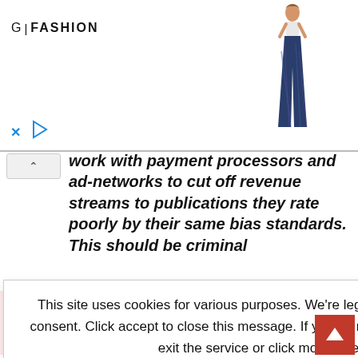[Figure (screenshot): Advertisement banner for G|FASHION showing a female model wearing plaid wide-leg jeans and white crop top, with a close (X) button and play button at bottom left]
work with payment processors and ad-networks to cut off revenue streams to publications they rate poorly by their same bias standards. This should be criminal
orld nonsense nail and get the r inbox.
This site uses cookies for various purposes. We're legally required to request your consent. Click accept to close this message. If you do not agree, please immediately exit the service or click more to learn why.
Accept
More
milestone with ns planned for the